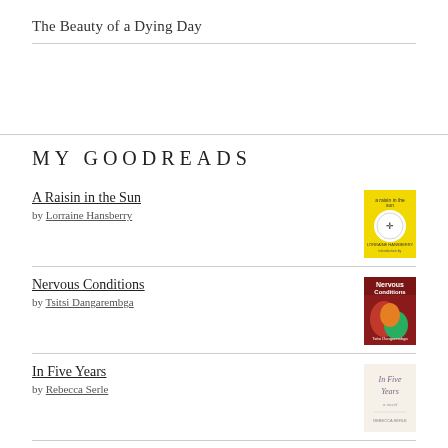The Beauty of a Dying Day
MY GOODREADS
A Raisin in the Sun
by Lorraine Hansberry
Nervous Conditions
by Tsitsi Dangarembga
In Five Years
by Rebecca Serle